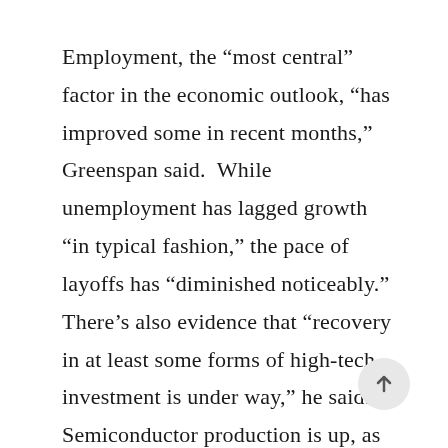Employment, the “most central” factor in the economic outlook, “has improved some in recent months,” Greenspan said.  While unemployment has lagged growth “in typical fashion,” the pace of layoffs has “diminished noticeably.” There’s also evidence that “recovery in at least some forms of high-tech investment is under way,” he said. Semiconductor production is up, as are expenditures on computers. Still, overcapacity remains